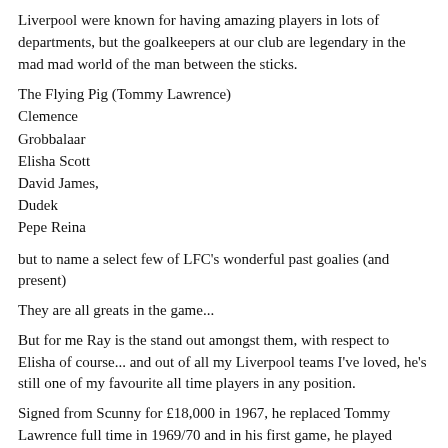Liverpool were known for having amazing players in lots of departments, but the goalkeepers at our club are legendary in the mad mad world of the man between the sticks.
The Flying Pig (Tommy Lawrence)
Clemence
Grobbalaar
Elisha Scott
David James,
Dudek
Pepe Reina
but to name a select few of LFC's wonderful past goalies (and present)
They are all greats in the game...
But for me Ray is the stand out amongst them, with respect to Elisha of course... and out of all my Liverpool teams I've loved, he's still one of my favourite all time players in any position.
Signed from Scunny for £18,000 in 1967, he replaced Tommy Lawrence full time in 1969/70 and in his first game, he played against Swansea, we won 2-0.